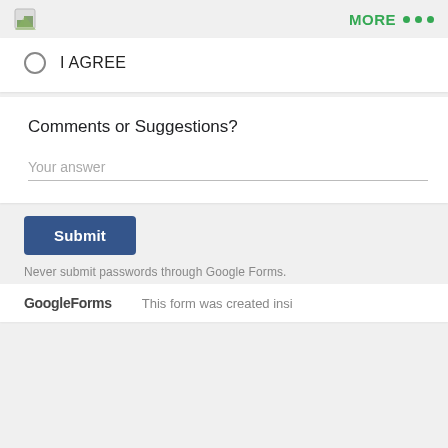MORE ...
I AGREE
Comments or Suggestions?
Your answer
Submit
Never submit passwords through Google Forms.
Google Forms   This form was created insi